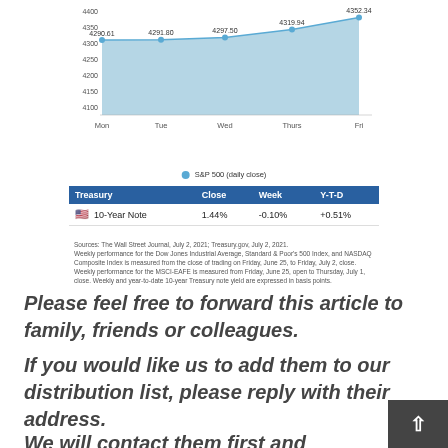[Figure (area-chart): S&P 500 (daily close)]
| Treasury | Close | Week | Y-T-D |
| --- | --- | --- | --- |
| 10-Year Note | 1.44% | -0.10% | +0.51% |
Sources: The Wall Street Journal, July 2, 2021; Treasury.gov, July 2, 2021. Weekly performance for the Dow Jones Industrial Average, Standard & Poor's 500 Index, and NASDAQ Composite Index is measured from the close of trading on Friday, June 25, to Friday, July 2, close. Weekly performance for the MSCI-EAFE is measured from Friday, June 25, open to Thursday, July 1, close. Weekly and year-to-date 10-year Treasury note yield are expressed in basis points.
Please feel free to forward this article to family, friends or colleagues.
If you would like us to add them to our distribution list, please reply with their address.
We will contact them first and request their permission to add them to our list.